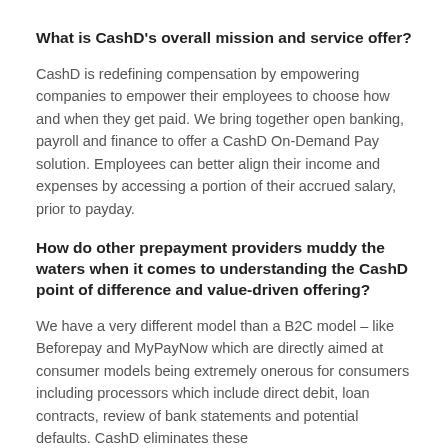What is CashD's overall mission and service offer?
CashD is redefining compensation by empowering companies to empower their employees to choose how and when they get paid. We bring together open banking, payroll and finance to offer a CashD On-Demand Pay solution. Employees can better align their income and expenses by accessing a portion of their accrued salary, prior to payday.
How do other prepayment providers muddy the waters when it comes to understanding the CashD point of difference and value-driven offering?
We have a very different model than a B2C model – like Beforepay and MyPayNow which are directly aimed at consumer models being extremely onerous for consumers including processors which include direct debit, loan contracts, review of bank statements and potential defaults. CashD eliminates these